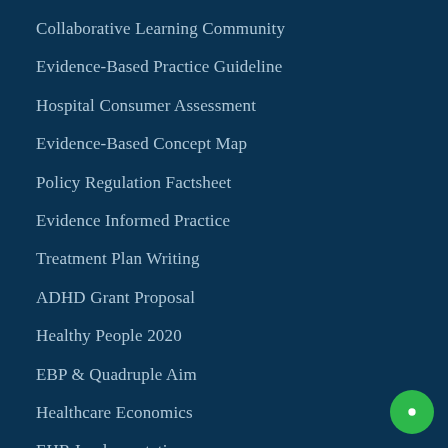Collaborative Learning Community
Evidence-Based Practice Guideline
Hospital Consumer Assessment
Evidence-Based Concept Map
Policy Regulation Factsheet
Evidence Informed Practice
Treatment Plan Writing
ADHD Grant Proposal
Healthy People 2020
EBP & Quadruple Aim
Healthcare Economics
EHR Implementation
Fast Nursing Papers